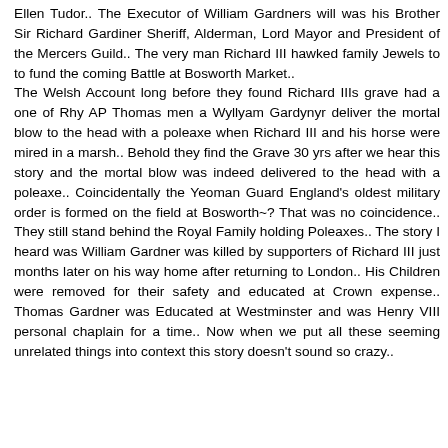Ellen Tudor.. The Executor of William Gardners will was his Brother Sir Richard Gardiner Sheriff, Alderman, Lord Mayor and President of the Mercers Guild.. The very man Richard III hawked family Jewels to to fund the coming Battle at Bosworth Market.. The Welsh Account long before they found Richard IIIs grave had a one of Rhy AP Thomas men a Wyllyam Gardynyr deliver the mortal blow to the head with a poleaxe when Richard III and his horse were mired in a marsh.. Behold they find the Grave 30 yrs after we hear this story and the mortal blow was indeed delivered to the head with a poleaxe.. Coincidentally the Yeoman Guard England's oldest military order is formed on the field at Bosworth~? That was no coincidence.. They still stand behind the Royal Family holding Poleaxes.. The story I heard was William Gardner was killed by supporters of Richard III just months later on his way home after returning to London.. His Children were removed for their safety and educated at Crown expense.. Thomas Gardner was Educated at Westminster and was Henry VIII personal chaplain for a time.. Now when we put all these seeming unrelated things into context this story doesn't sound so crazy..